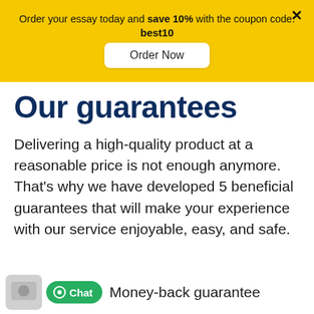Order your essay today and save 10% with the coupon code: best10
Order Now
Our guarantees
Delivering a high-quality product at a reasonable price is not enough anymore.
That's why we have developed 5 beneficial guarantees that will make your experience with our service enjoyable, easy, and safe.
Chat
Money-back guarantee